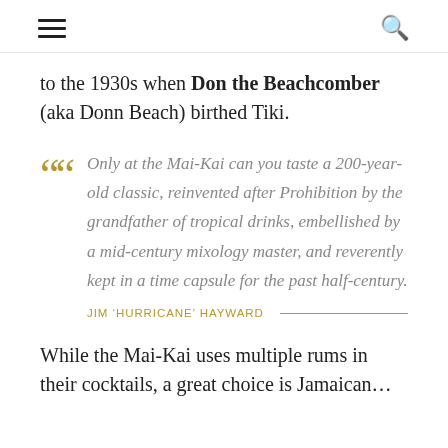≡  🔍
to the 1930s when Don the Beachcomber (aka Donn Beach) birthed Tiki.
Only at the Mai-Kai can you taste a 200-year-old classic, reinvented after Prohibition by the grandfather of tropical drinks, embellished by a mid-century mixology master, and reverently kept in a time capsule for the past half-century. — JIM 'HURRICANE' HAYWARD
While the Mai-Kai uses multiple rums in their cocktails, a great choice is Jamaican…